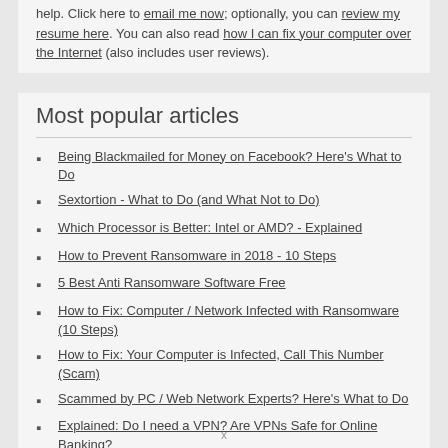help. Click here to email me now; optionally, you can review my resume here. You can also read how I can fix your computer over the Internet (also includes user reviews).
Most popular articles
Being Blackmailed for Money on Facebook? Here's What to Do
Sextortion - What to Do (and What Not to Do)
Which Processor is Better: Intel or AMD? - Explained
How to Prevent Ransomware in 2018 - 10 Steps
5 Best Anti Ransomware Software Free
How to Fix: Computer / Network Infected with Ransomware (10 Steps)
How to Fix: Your Computer is Infected, Call This Number (Scam)
Scammed by PC / Web Network Experts? Here's What to Do
Explained: Do I need a VPN? Are VPNs Safe for Online Banking?
Explained: VPN vs Proxy; What's the Difference?
Forgot Password? How to: Reset Any Password: Windows Vista, 7, 8, 10
How to: Use a Firewall to Block Full Screen Ads on Android
Explained: Absolute Best way to Limit Data on Android
Explained: Difference Between Dark Web, Deep Net, Darknet and More
x